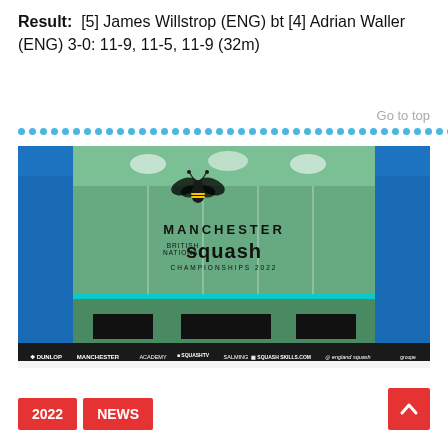Result:  [5] James Willstrop (ENG) bt [4] Adrian Waller (ENG) 3-0: 11-9, 11-5, 11-9 (32m)
Go to top
[Figure (photo): Squash court with glass back wall showing Manchester British National Squash Championships 2022 branding, with sponsor banners along the bottom including Dunlop, Manchester, SquashTV, Salming, Squash Skills, and England Squash logos.]
2022
NEWS